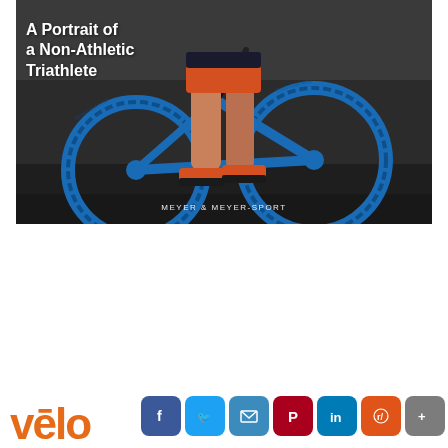[Figure (photo): A person standing beside a blue Quintana Roo triathlon bicycle on an asphalt surface. The image shows the lower half of the cyclist wearing orange cycling shoes and orange/black kit. The Quintana Roo logo is visible on the wheels. Text overlays show the title 'A Portrait of a Non-Athletic Triathlete' in white bold text on the left, and 'MEYER & MEYER-SPORT' at the bottom center.]
A Portrait of a Non-Athletic Triathlete
[Figure (logo): Velo logo in orange with macron over the 'e', partially visible at bottom left]